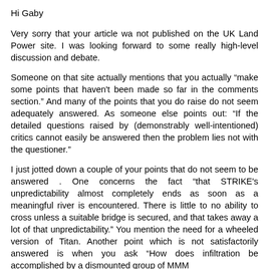Hi Gaby
Very sorry that your article wa not published on the UK Land Power site. I was looking forward to some really high-level discussion and debate.
Someone on that site actually mentions that you actually “make some points that haven't been made so far in the comments section.” And many of the points that you do raise do not seem adequately answered. As someone else points out: “If the detailed questions raised by (demonstrably well-intentioned) critics cannot easily be answered then the problem lies not with the questioner.”
I just jotted down a couple of your points that do not seem to be answered . One concerns the fact “that STRIKE's unpredictability almost completely ends as soon as a meaningful river is encountered. There is little to no ability to cross unless a suitable bridge is secured, and that takes away a lot of that unpredictability.” You mention the need for a wheeled version of Titan. Another point which is not satisfactorily answered is when you ask “How does infiltration be accomplished by a dismounted group of MMM